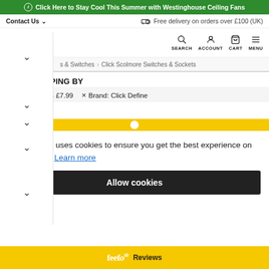Click Here to Stay Cool This Summer with Westinghouse Ceiling Fans
Contact Us   Free delivery on orders over £100 (UK)
ectrical  SEARCH  ACCOUNT  CART  MENU
s & Switches > Click Scolmore Switches & Sockets
NOW SHOPPING BY
× Price: £0.00 - £7.99    × Brand: Click Define
Clear All
This website uses cookies to ensure you get the best experience on our website. Learn more
Allow cookies
feefo Reviews